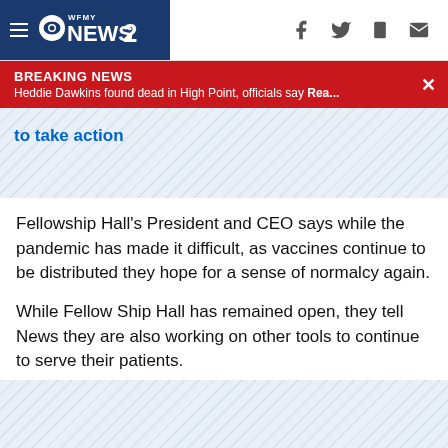[Figure (screenshot): WFMY News 2 navigation bar with hamburger menu, CBS eye logo, WFMY NEWS 2 logo, and social media icons (Facebook, Twitter, mobile, mail)]
BREAKING NEWS
Heddie Dawkins found dead in High Point, officials say Rea...
to take action
Fellowship Hall's President and CEO says while the pandemic has made it difficult, as vaccines continue to be distributed they hope for a sense of normalcy again.
While Fellow Ship Hall has remained open, they tell News they are also working on other tools to continue to serve their patients.